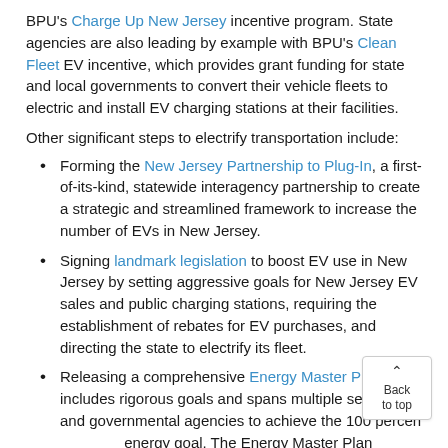BPU's Charge Up New Jersey incentive program. State agencies are also leading by example with BPU's Clean Fleet EV incentive, which provides grant funding for state and local governments to convert their vehicle fleets to electric and install EV charging stations at their facilities.
Other significant steps to electrify transportation include:
Forming the New Jersey Partnership to Plug-In, a first-of-its-kind, statewide interagency partnership to create a strategic and streamlined framework to increase the number of EVs in New Jersey.
Signing landmark legislation to boost EV use in New Jersey by setting aggressive goals for New Jersey EV sales and public charging stations, requiring the establishment of rebates for EV purchases, and directing the state to electrify its fleet.
Releasing a comprehensive Energy Master Plan that includes rigorous goals and spans multiple sectors and governmental agencies to achieve the 100 percent energy goal. The Energy Master Plan defines clean energy as 100 percent carbon-neutral electricity generation and anticipates that the vast majority